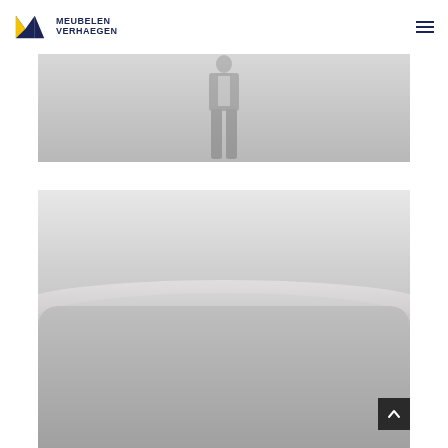Meubelen Verhaegen
[Figure (photo): Faded grayscale photo of a person (silhouette) standing, cropped to show lower body]
[Figure (photo): Faded grayscale landscape photo showing misty hills or mountains receding into the distance]